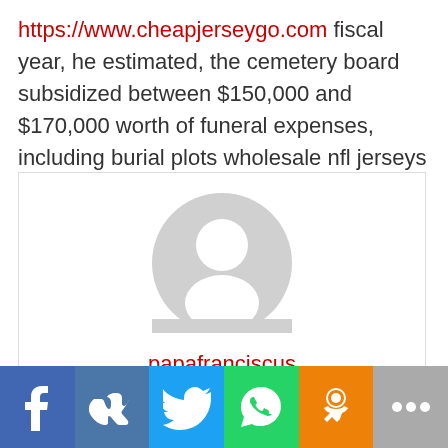https://www.cheapjerseygo.com fiscal year, he estimated, the cemetery board subsidized between $150,000 and $170,000 worth of funeral expenses, including burial plots wholesale nfl jerseys from china.
[Figure (illustration): User profile card with generic avatar silhouette and username 'papafranciscus' in red text]
[Figure (infographic): Social sharing bar with Facebook, VK, Twitter, WhatsApp, Odnoklassniki, and more (three dots) buttons]